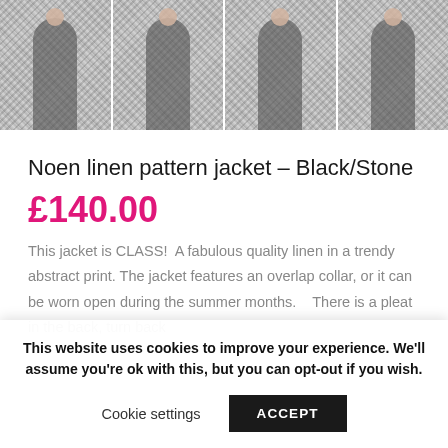[Figure (photo): Four product photos of a black and stone linen pattern jacket shown on a model from different angles]
Noen linen pattern jacket – Black/Stone
£140.00
This jacket is CLASS!  A fabulous quality linen in a trendy abstract print. The jacket features an overlap collar, or it can be worn open during the summer months.    There is a pleat in the back, turn back
This website uses cookies to improve your experience. We'll assume you're ok with this, but you can opt-out if you wish.
Cookie settings    ACCEPT